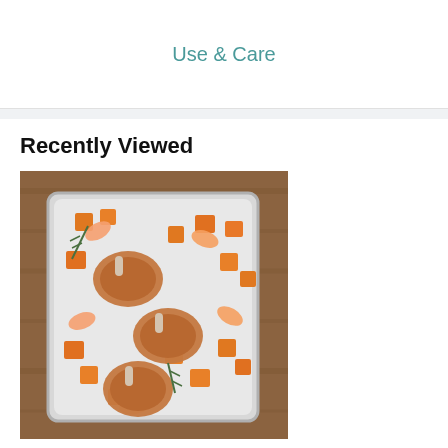Use & Care
Recently Viewed
[Figure (photo): A large sheet pan with roasted pork chops, diced butternut squash, apple slices, and rosemary sprigs, photographed from above on a wooden surface.]
Large Sheet Pan